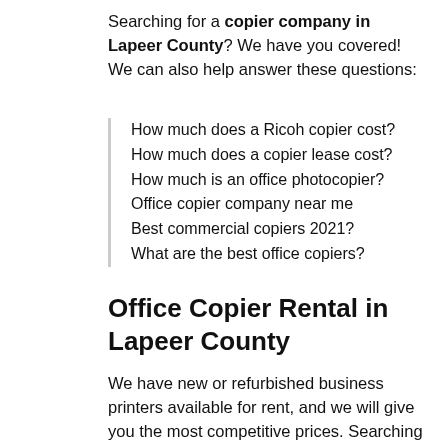Searching for a copier company in Lapeer County? We have you covered! We can also help answer these questions:
How much does a Ricoh copier cost?
How much does a copier lease cost?
How much is an office photocopier?
Office copier company near me
Best commercial copiers 2021?
What are the best office copiers?
Office Copier Rental in Lapeer County
We have new or refurbished business printers available for rent, and we will give you the most competitive prices. Searching for a office printer rental in Lapeer County? Our printer